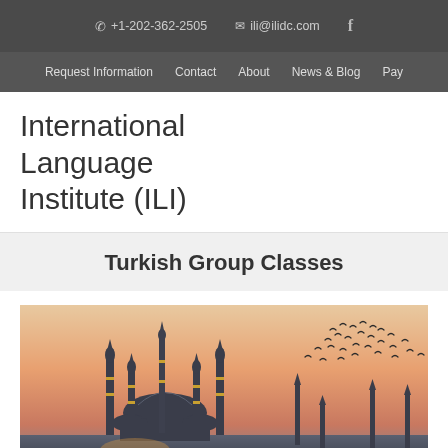+1-202-362-2505  ili@ilidc.com  f
Request Information  Contact  About  News & Blog  Pay
International Language Institute (ILI)
Turkish Group Classes
[Figure (photo): Photo of the Blue Mosque (Sultan Ahmed Mosque) in Istanbul at sunset/dusk, with minarets silhouetted against a warm orange-pink sky and birds flying in formation in the upper right area of the image.]